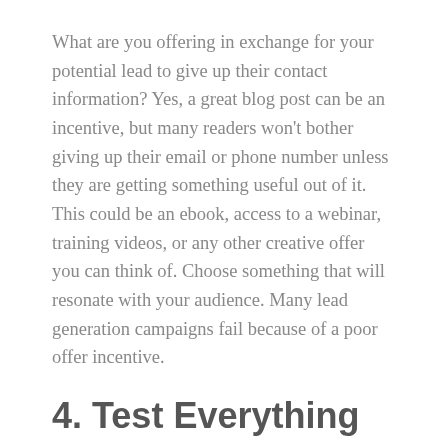What are you offering in exchange for your potential lead to give up their contact information? Yes, a great blog post can be an incentive, but many readers won't bother giving up their email or phone number unless they are getting something useful out of it. This could be an ebook, access to a webinar, training videos, or any other creative offer you can think of. Choose something that will resonate with your audience. Many lead generation campaigns fail because of a poor offer incentive.
4. Test Everything
What kind of content does your audience most interact with? What social media channels are they most active on? There is no point in creating content your readers aren't interested in, or investing time into a social media platform your readers aren't responding to. But you won't know all